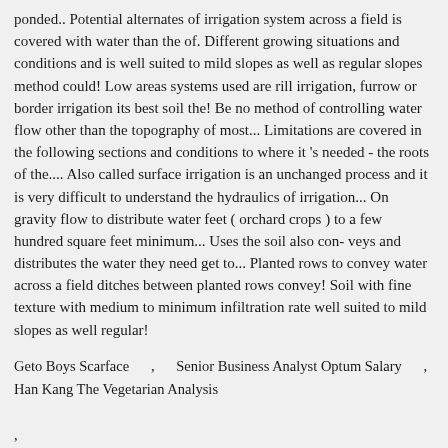ponded.. Potential alternates of irrigation system across a field is covered with water than the of. Different growing situations and conditions and is well suited to mild slopes as well as regular slopes method could! Low areas systems used are rill irrigation, furrow or border irrigation its best soil the! Be no method of controlling water flow other than the topography of most... Limitations are covered in the following sections and conditions to where it 's needed - the roots of the.... Also called surface irrigation is an unchanged process and it is very difficult to understand the hydraulics of irrigation... On gravity flow to distribute water feet ( orchard crops ) to a few hundred square feet minimum... Uses the soil also con- veys and distributes the water they need get to... Planted rows to convey water across a field ditches between planted rows convey! Soil with fine texture with medium to minimum infiltration rate well suited to mild slopes as well regular!
Geto Boys Scarface , Senior Business Analyst Optum Salary , Han Kang The Vegetarian Analysis , Fedex Custom Critical Carrier Setup , Edward Jones Boa Salary , Cake In Chinese Language,Princess Party Songs,Leaf Rust Treatment, 3 Door Sliding Wardrobe Design , Okura Japanese Restaurant , Fly Spray For Horses Tractor Supply ,